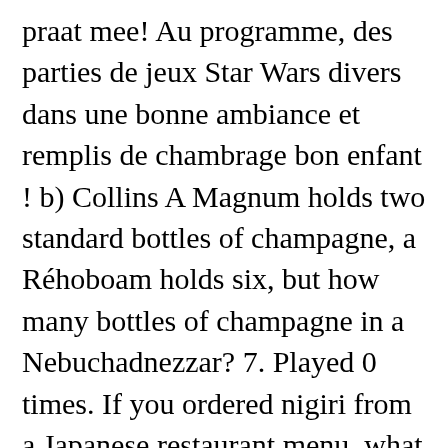praat mee! Au programme, des parties de jeux Star Wars divers dans une bonne ambiance et remplis de chambrage bon enfant ! b) Collins A Magnum holds two standard bottles of champagne, a Réhoboam holds six, but how many bottles of champagne in a Nebuchadnezzar? 7. Played 0 times. If you ordered nigiri from a Japanese restaurant menu, what would you be served? Save. Know your national nosh? a) Tamarind 9th - 12th grade . Distinctive are its bitter (khar) and sour (tenga) dishes, which are often served at the beginning and end of meals, respectively. It's high time we reevaluate our assumptions with 20 classic dishes -- from Yorkshire pudding to Irish stew. The important thing is